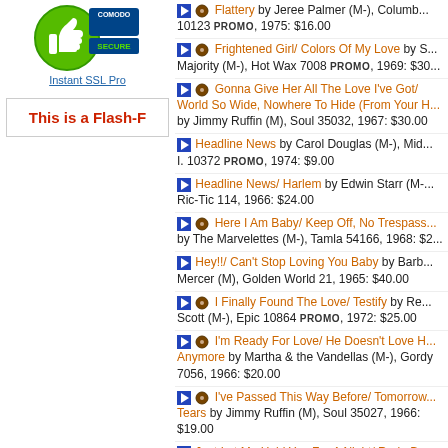[Figure (logo): Comodo Secure / Instant SSL Pro badge with green thumbs up icon]
This is a Flash-F[lash Player required]
Flattery by Jeree Palmer (M-), Columb... 10123 PROMO, 1975: $16.00
Frightened Girl/ Colors Of My Love by S... Majority (M-), Hot Wax 7008 PROMO, 1969: $30...
Gonna Give Her All The Love I've Got/ World So Wide, Nowhere To Hide (From Your H... by Jimmy Ruffin (M), Soul 35032, 1967: $30.00
Headline News by Carol Douglas (M-), Mid... I. 10372 PROMO, 1974: $9.00
Headline News/ Harlem by Edwin Starr (M-... Ric-Tic 114, 1966: $24.00
Here I Am Baby/ Keep Off, No Trespass... by The Marvelettes (M-), Tamla 54166, 1968: $2...
Hey!!/ Can't Stop Loving You Baby by Barb... Mercer (M), Golden World 21, 1965: $40.00
I Finally Found The Love/ Testify by Re... Scott (M-), Epic 10864 PROMO, 1972: $25.00
I'm Ready For Love/ He Doesn't Love H... Anymore by Martha & the Vandellas (M-), Gordy 7056, 1966: $20.00
I've Passed This Way Before/ Tomorrow... Tears by Jimmy Ruffin (M), Soul 35027, 1966: $19.00
Just Let Me Hold You For A Night/ Rode By... Place (Where We Used To Stay) by David Ruffin... Motown 1420, 1977: $35.00
Let Me Be The Clock/ Travelin' Through by... Smokey Robinson (M), Tamla 54311, 1980: $7.0...
Lonely Summer/ With This Ring by Shades... Blue (M-), Impact 1014 PROMO, 1966: $18.00
Love Has Found Me by Sister Sledge (... Atco 7035 PROMO, 1975: $15.00